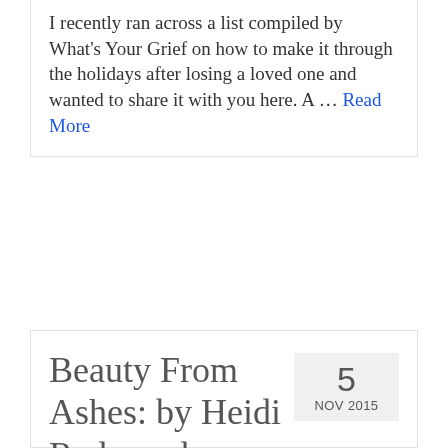I recently ran across a list compiled by What's Your Grief on how to make it through the holidays after losing a loved one and wanted to share it with you here. A … Read More
Beauty From Ashes: by Heidi Redmond
6
Trevor was my first love, my first real boyfriend, the first one that loved me for me no matter my flaws, and I loved him with every part of my being. We started dating when I was 18 and he was 21, we